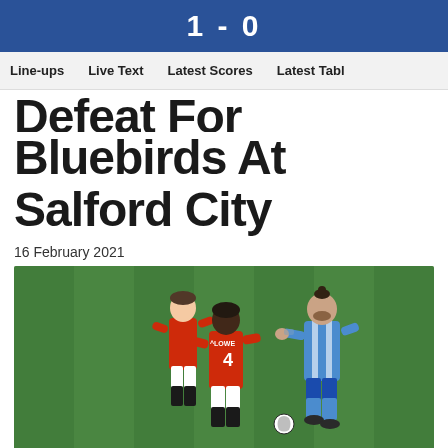1 - 0
Line-ups  Live Text  Latest Scores  Latest Tabl
Defeat For Bluebirds At Salford City
16 February 2021
[Figure (photo): Football match action photo showing players from Salford City (red kit, player #4 LOWE) and a Barrow player (blue/white striped kit) competing on a grass pitch under floodlights.]